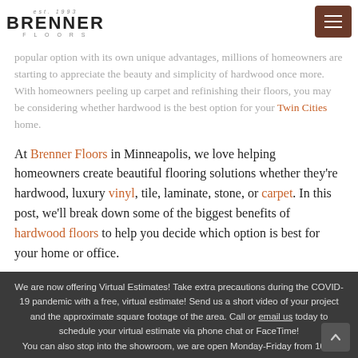BRENNER FLOORS (logo) — navigation header with menu button
popular option with its own unique advantages, millions of homeowners are starting to appreciate the beauty and simplicity of hardwood once more. With homeowners peeling up carpet and refinishing their floors, you may be considering whether hardwood is the best option for your Twin Cities home.
At Brenner Floors in Minneapolis, we love helping homeowners create beautiful flooring solutions whether they're hardwood, luxury vinyl, tile, laminate, stone, or carpet. In this post, we'll break down some of the biggest benefits of hardwood floors to help you decide which option is best for your home or office.
1.   It's easy to keep looking great.
Hardwood floors are simple, clean, and elegant, which
We are now offering Virtual Estimates! Take extra precautions during the COVID-19 pandemic with a free, virtual estimate! Send us a short video of your project and the approximate square footage of the area. Call or email us today to schedule your virtual estimate via phone chat or FaceTime! You can also stop into the showroom, we are open Monday-Friday from 10-6!